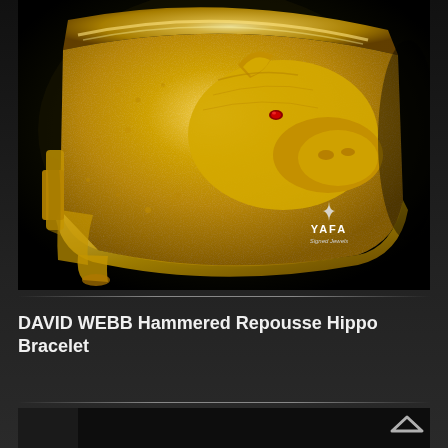[Figure (photo): Gold hammered repousse hippo cuff bracelet by David Webb, shown against a dark background. The bracelet features a three-dimensional hippopotamus head sculpted in textured yellow gold with a small ruby eye. The cuff is wide and open-ended. YAFA Signed Jewels watermark visible in lower right of photo.]
DAVID WEBB Hammered Repousse Hippo Bracelet
[Figure (photo): Partial view of bottom of page, dark background, upward chevron arrow icon in lower right corner.]